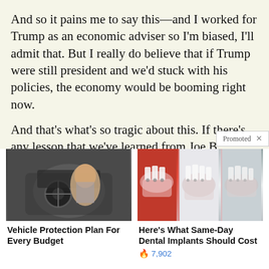And so it pains me to say this—and I worked for Trump as an economic adviser so I'm biased, I'll admit that. But I really do believe that if Trump were still president and we'd stuck with his policies, the economy would be booming right now.
And that's what's so tragic about this. If there's any lesson that we've learned from Joe B[promoted overlay]
[Figure (photo): Advertisement photo: smiling woman driving a car, steering wheel visible]
Vehicle Protection Plan For Every Budget
[Figure (photo): Advertisement photo: three panel dental implant images showing teeth and gums]
Here's What Same-Day Dental Implants Should Cost
🔥 7,902